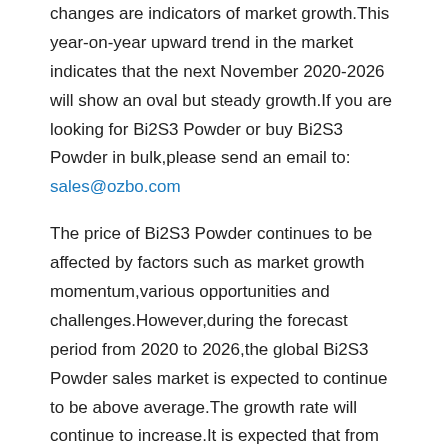changes are indicators of market growth.This year-on-year upward trend in the market indicates that the next November 2020-2026 will show an oval but steady growth.If you are looking for Bi2S3 Powder or buy Bi2S3 Powder in bulk,please send an email to: sales@ozbo.com
The price of Bi2S3 Powder continues to be affected by factors such as market growth momentum,various opportunities and challenges.However,during the forecast period from 2020 to 2026,the global Bi2S3 Powder sales market is expected to continue to be above average.The growth rate will continue to increase.It is expected that from today to next week,the price of Bi2S3 Powder will increase to a certain extent.